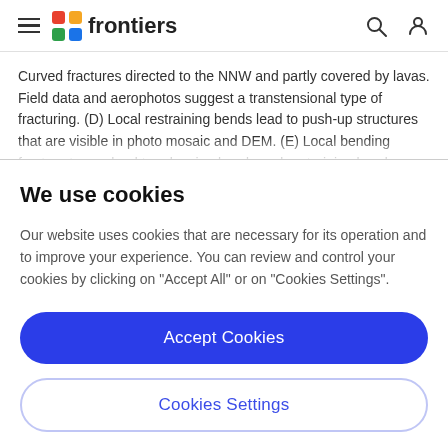frontiers
Curved fractures directed to the NNW and partly covered by lavas. Field data and aerophotos suggest a transtensional type of fracturing. (D) Local restraining bends lead to push-up structures that are visible in photo mosaic and DEM. (E) Local bending fracture traces lead to releasing bends and restraining bends as topographic
We use cookies
Our website uses cookies that are necessary for its operation and to improve your experience. You can review and control your cookies by clicking on "Accept All" or on "Cookies Settings".
Accept Cookies
Cookies Settings